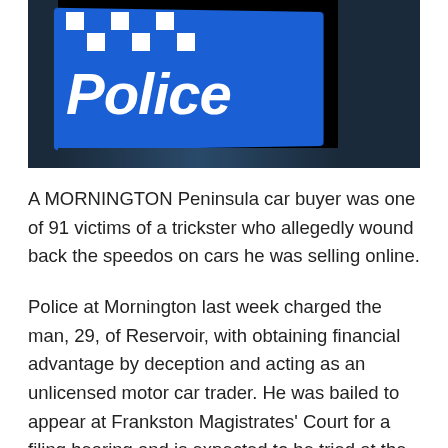[Figure (photo): A blue police sign with white checkerboard pattern at top and 'Police' written in bold italic white text, photographed at night against a dark background.]
A MORNINGTON Peninsula car buyer was one of 91 victims of a trickster who allegedly wound back the speedos on cars he was selling online.
Police at Mornington last week charged the man, 29, of Reservoir, with obtaining financial advantage by deception and acting as an unlicensed motor car trader. He was bailed to appear at Frankston Magistrates' Court for a filing hearing and is expected to be tried at the Country Court at a later date.